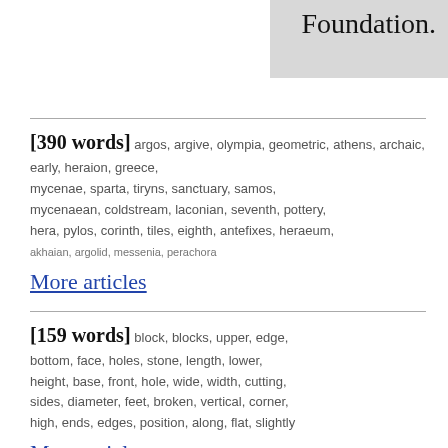Foundation.
[390 words] argos, argive, olympia, geometric, athens, archaic, early, heraion, greece, mycenae, sparta, tiryns, sanctuary, samos, mycenaean, coldstream, laconian, seventh, pottery, hera, pylos, corinth, tiles, eighth, antefixes, heraeum, akhaian, argolid, messenia, perachora
More articles
[159 words] block, blocks, upper, edge, bottom, face, holes, stone, length, lower, height, base, front, hole, wide, width, cutting, sides, diameter, feet, broken, vertical, corner, high, ends, edges, position, along, flat, slightly
More articles
[102 words] temple, columns, column, building, frieze, capital, parthenon, capitals, temples, doric, ionic, cella, architectural, dinsmoor, blocks, geison, sima, corner, fragments, height, architecture, flank, base, marble, buildings, stylobate, front, hephaisteion,